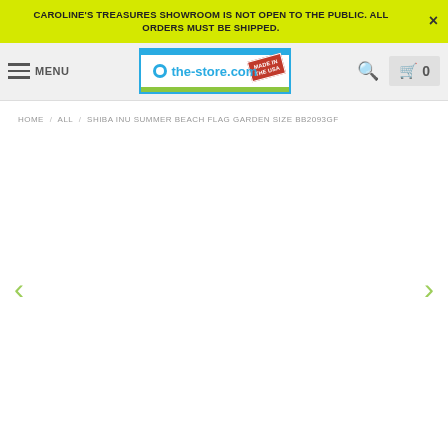CAROLINE'S TREASURES SHOWROOM IS NOT OPEN TO THE PUBLIC. ALL ORDERS MUST BE SHIPPED.
MENU | the-store.com | 0
HOME / ALL / SHIBA INU SUMMER BEACH FLAG GARDEN SIZE BB2093GF